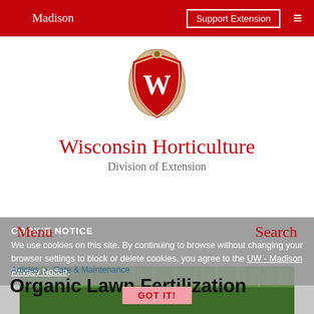Madison   Support Extension
[Figure (logo): University of Wisconsin shield/crest logo with W in red on beige shield with decorative border]
Wisconsin Horticulture
Division of Extension
COOKIE NOTICE
We use cookies on this site. By continuing to browse without changing your browser settings to block or delete cookies, you agree to the UW - Madison Privacy Notice.
Menu   Search
Articles > Care & Maintenance
Organic Lawn Fertilization
GOT IT!
[Figure (photo): Close-up photograph of green grass lawn]